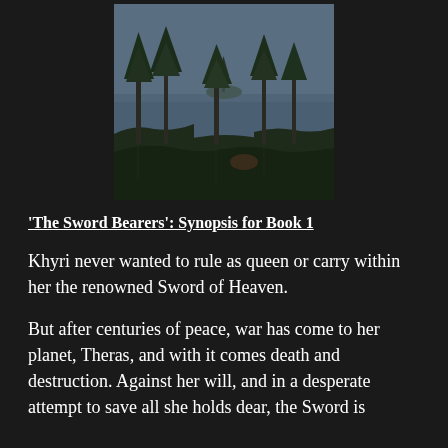[Figure (photo): A landscape photograph showing tall conifer trees in the foreground with a calm lake or bay and a small island in the misty background, taken at dusk or on an overcast day.]
‘The Sword Bearers’: Synopsis for Book 1
Khyri never wanted to rule as queen or carry within her the renowned Sword of Heaven.
But after centuries of peace, war has come to her planet, Theras, and with it comes death and destruction. Against her will, and in a desperate attempt to save all she holds dear, the Sword is